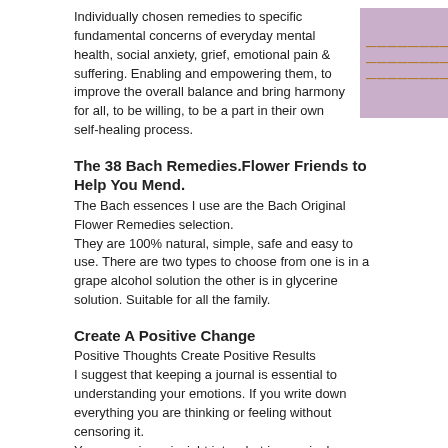Individually chosen remedies to specific fundamental concerns of everyday mental health, social anxiety, grief, emotional pain & suffering. Enabling and empowering them, to improve the overall balance and bring harmony for all, to be willing, to be a part in their own self-healing process.
[Figure (other): Mauve/purple rectangular box with decorative text lines in golden/amber color, positioned top-right corner]
The 38 Bach Remedies.Flower Friends to Help You Mend.
The Bach essences I use are the Bach Original Flower Remedies selection.
They are 100% natural, simple, safe and easy to use. There are two types to choose from one is in a grape alcohol solution the other is in glycerine solution. Suitable for all the family.
Create A Positive Change
Positive Thoughts Create Positive Results
I suggest that keeping a journal is essential to understanding your emotions. If you write down everything you are thinking or feeling without censoring it.
You can gain an insight into what is genuinely bothering you. Whether it is a known fear or an anxiety you cannot name. With this process of de-layering it enables you to select the Bach flower essence relevant to that negative emotion.
Enlightening you to health & healing.
Contact:
Mary Murray